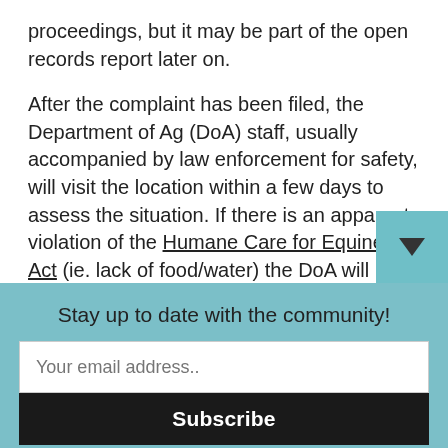proceedings, but it may be part of the open records report later on.
After the complaint has been filed, the Department of Ag (DoA) staff, usually accompanied by law enforcement for safety, will visit the location within a few days to assess the situation. If there is an apparent violation of the Humane Care for Equines Act (ie. lack of food/water) the DoA will address the situation and advise the owner of proper humane care. Sometimes this is all it takes for the owner to “wake up”, realize what is wrong, and rehabilitate their own equines. The DoA will follow up to see if the issues
Stay up to date with the community!
Your email address..
Subscribe